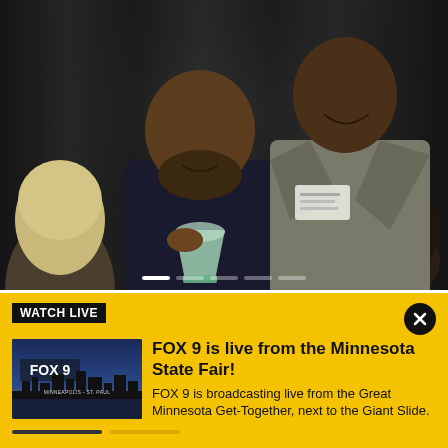[Figure (photo): Two men posing together at an indoor event; the man on the left holds a glass award trophy and wears a dark shirt; the man on the right wears a grey blazer with a name tag; dark curtain background with audience members visible in foreground]
Family speaks out after former high school basketball star passed over for Minneapolis
WATCH LIVE
[Figure (screenshot): FOX 9 thumbnail image showing city skyline at dusk with FOX 9 MINNEAPOLIS - ST. PAUL text overlay]
FOX 9 is live from the Minnesota State Fair!
FOX 9 is broadcasting live from the Great Minnesota Get-Together, next to the Giant Slide.